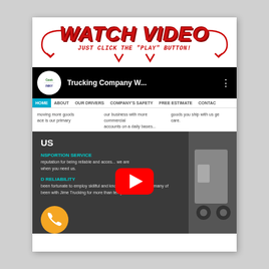WATCH VIDEO
JUST CLICK THE "PLAY" BUTTON!
[Figure (screenshot): YouTube embed thumbnail showing Trucking Company W... video with Geek INNY logo]
HOME  ABOUT  OUR DRIVERS  COMPANY'S SAFETY  FREE ESTIMATE  CONTACT
moving more goods... ace is our primary   our business with more commercial accounts on a daily bases...   goods you ship with us get care.
US
NSPORTION SERVICE
reputation for being reliable and accessible... we are here when you need us.
D RELIABILITY
been fortunate to employ skillful and knowledgeable drivers; many of been with Jime Trucking for more than ten years...
[Figure (other): YouTube play button overlay (red and white)]
[Figure (other): Orange phone call button in bottom left corner]